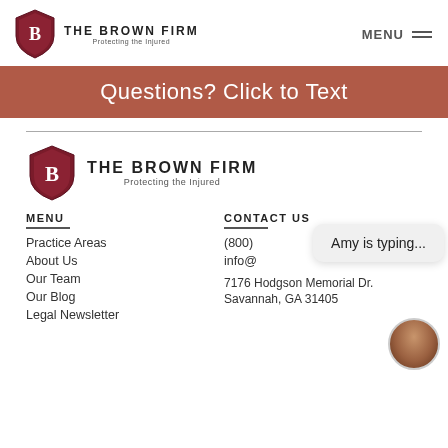THE BROWN FIRM — Protecting the Injured | MENU
Questions? Click to Text
[Figure (logo): The Brown Firm logo with shield and tagline 'Protecting the Injured']
MENU
CONTACT US
Practice Areas
About Us
Our Team
Our Blog
Legal Newsletter
(800)
info@
7176 Hodgson Memorial Dr. Savannah, GA 31405
Amy is typing...